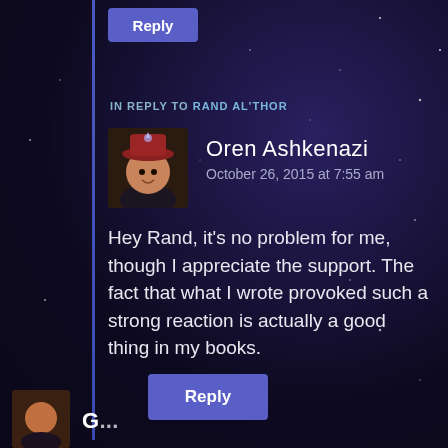Reply
IN REPLY TO RAND AL'THOR
Oren Ashkenazi
October 26, 2015 at 7:55 am
Hey Rand, it's no problem for me, though I appreciate the support. The fact that what I wrote provoked such a strong reaction is actually a good thing in my books.
Reply